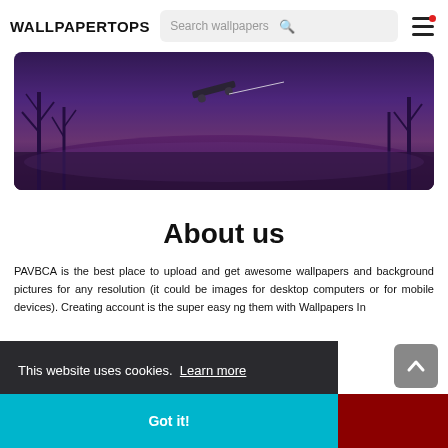WALLPAPERTOPS
[Figure (photo): Dark purple-toned outdoor scene with something airborne (skateboard/object) against a moody twilight sky with bare trees]
About us
PAVBCA is the best place to upload and get awesome wallpapers and background pictures for any resolution (it could be images for desktop computers or for mobile devices). Creating account is the super easy ng them with Wallpapers In
This website uses cookies. Learn more
Got it!